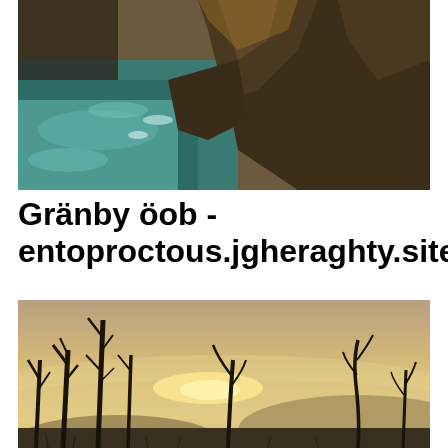[Figure (photo): Coastal rocky cliffs with ocean waves and teal-green water below, warm golden light on rocks, dramatic seascape view from above]
Gränby öob - entoproctous.jgheraghty.site
[Figure (photo): Misty landscape at sunset or sunrise with silhouetted bare dead trees and twisted branches against a hazy golden sky, low fog over hills]